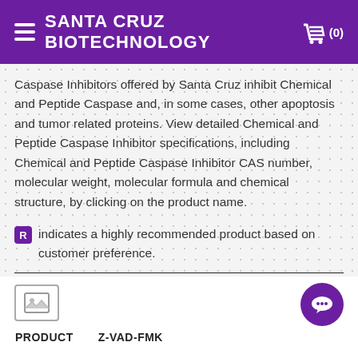SANTA CRUZ BIOTECHNOLOGY
Caspase Inhibitors offered by Santa Cruz inhibit Chemical and Peptide Caspase and, in some cases, other apoptosis and tumor related proteins. View detailed Chemical and Peptide Caspase Inhibitor specifications, including Chemical and Peptide Caspase Inhibitor CAS number, molecular weight, molecular formula and chemical structure, by clicking on the product name.
R indicates a highly recommended product based on customer preference.
[Figure (other): Image placeholder icon (mountain/landscape symbol in a square frame)]
[Figure (other): Purple circular chat bubble icon with three dots]
| PRODUCT | Z-VAD-FMK |
| --- | --- |